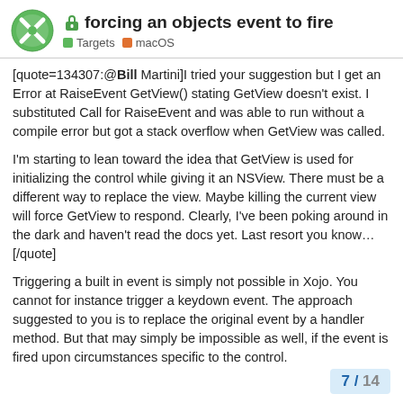forcing an objects event to fire
Targets  macOS
[quote=134307:@Bill Martini]I tried your suggestion but I get an Error at RaiseEvent GetView() stating GetView doesn't exist. I substituted Call for RaiseEvent and was able to run without a compile error but got a stack overflow when GetView was called.
I'm starting to lean toward the idea that GetView is used for initializing the control while giving it an NSView. There must be a different way to replace the view. Maybe killing the current view will force GetView to respond. Clearly, I've been poking around in the dark and haven't read the docs yet. Last resort you know…[/quote]
Triggering a built in event is simply not possible in Xojo. You cannot for instance trigger a keydown event. The approach suggested to you is to replace the original event by a handler method. But that may simply be impossible as well, if the event is fired upon circumstances specific to the control.
7 / 14